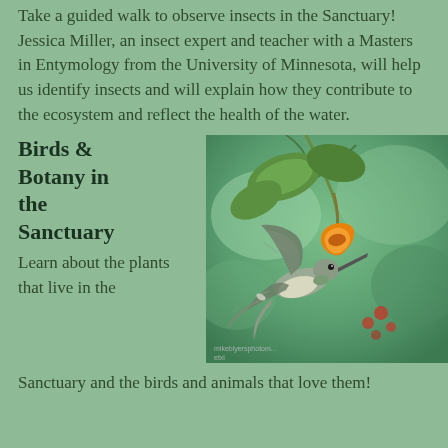Take a guided walk to observe insects in the Sanctuary! Jessica Miller, an insect expert and teacher with a Masters in Entymology from the University of Minnesota, will help us identify insects and will explain how they contribute to the ecosystem and reflect the health of the water.
Birds & Botany in the Sanctuary
Learn about the plants that live in the Sanctuary and the birds and animals that love them!
[Figure (photo): A hummingbird hovering in mid-air, feeding from an orange trumpet-shaped flower hanging from a green vine/branch. The background is a blurred green garden setting with some red berries visible. A small watermark text is visible at the bottom left of the image.]